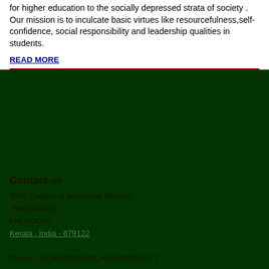for higher education to the socially depressed strata of society . Our mission is to inculcate basic virtues like resourcefulness,self-confidence, social responsibility and leadership qualities in students.
READ MORE
Contact us
SNG College of Advanced Studies,
 SHORANUR,
PALAKKAD
Kerala , India - 679122

Phone : +914662931294, +919446316171